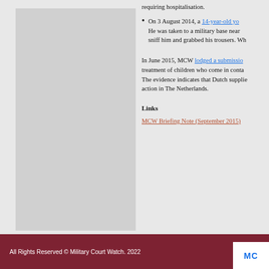requiring hospitalisation.
On 3 August 2014, a 14-year-old yo... He was taken to a military base near... sniff him and grabbed his trousers. Wh...
In June 2015, MCW lodged a submissio... treatment of children who come in conta... The evidence indicates that Dutch supplie... action in The Netherlands.
Links
MCW Briefing Note (September 2015)
All Rights Reserved © Military Court Watch. 2022